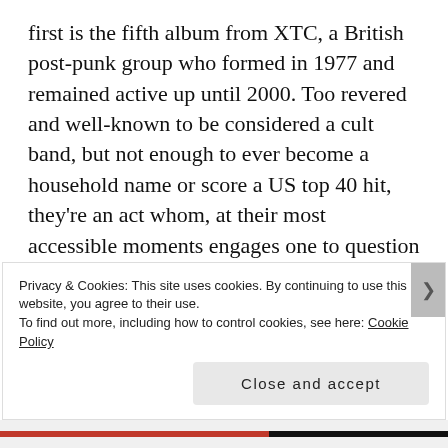first is the fifth album from XTC, a British post-punk group who formed in 1977 and remained active up until 2000. Too revered and well-known to be considered a cult band, but not enough to ever become a household name or score a US top 40 hit, they're an act whom, at their most accessible moments engages one to question why the heck they were never half as big as The Police, U2 or any of their more recognized contemporaries. Listen to any of their albums and the answer's immediately apparent: stubbornly foraging their own path through the music industry, XTC rarely shielded their quirks and
Privacy & Cookies: This site uses cookies. By continuing to use this website, you agree to their use.
To find out more, including how to control cookies, see here: Cookie Policy
Close and accept